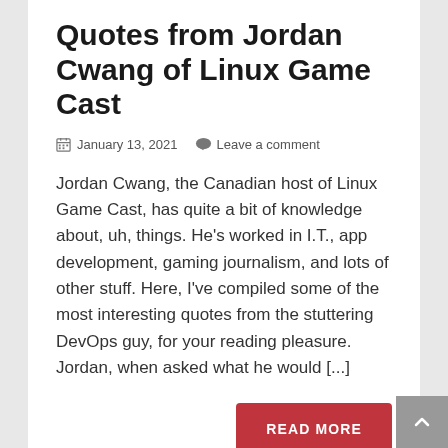Quotes from Jordan Cwang of Linux Game Cast
January 13, 2021  Leave a comment
Jordan Cwang, the Canadian host of Linux Game Cast, has quite a bit of knowledge about, uh, things. He’s worked in I.T., app development, gaming journalism, and lots of other stuff. Here, I’ve compiled some of the most interesting quotes from the stuttering DevOps guy, for your reading pleasure. Jordan, when asked what he would [...]
READ MORE